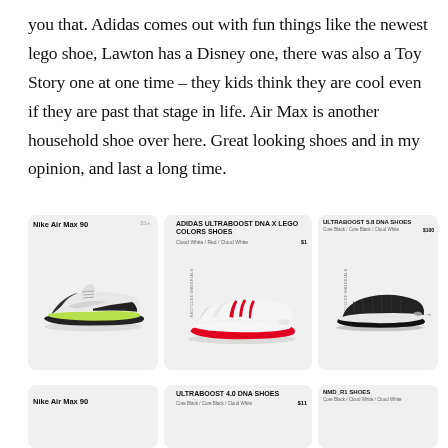you that. Adidas comes out with fun things like the newest lego shoe, Lawton has a Disney one, there was also a Toy Story one at one time – they kids think they are cool even if they are past that stage in life. Air Max is another household shoe over here. Great looking shoes and in my opinion, and last a long time.
[Figure (screenshot): Three product cards showing Nike Air Max 90, Adidas Ultraboost DNA x LEGO Colors Shoes (Cloud White/Red/Cloud White), and Ultraboost 5.8 DNA Shoes (Core Black/Core Black/Cloud White $100)]
[Figure (screenshot): Three product cards showing Nike Air Max 90, Ultraboost 4.0 DNA Shoes (Core Black/Core Black/Cloud White), and NMD_R1 Shoes (Core Black/Cloud White/Cloud White)]